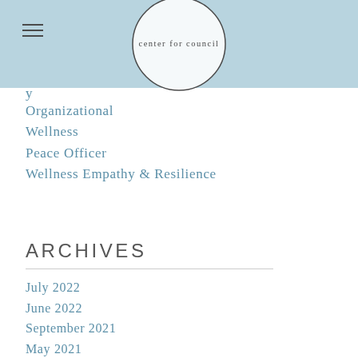center for council
Organizational
Wellness
Peace Officer
Wellness Empathy & Resilience
ARCHIVES
July 2022
June 2022
September 2021
May 2021
April 2021